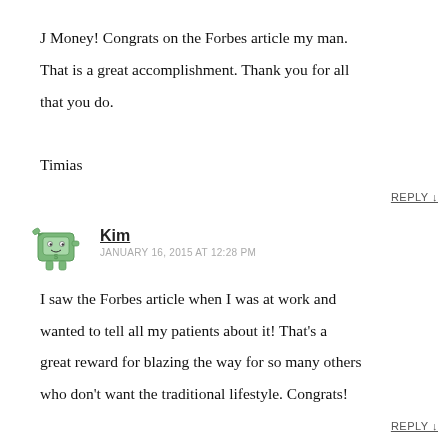J Money! Congrats on the Forbes article my man. That is a great accomplishment. Thank you for all that you do.

Timias
REPLY ↓
[Figure (illustration): Small cartoon illustration of a green dollar bill character]
Kim
JANUARY 16, 2015 AT 12:28 PM
I saw the Forbes article when I was at work and wanted to tell all my patients about it! That's a great reward for blazing the way for so many others who don't want the traditional lifestyle. Congrats!
REPLY ↓